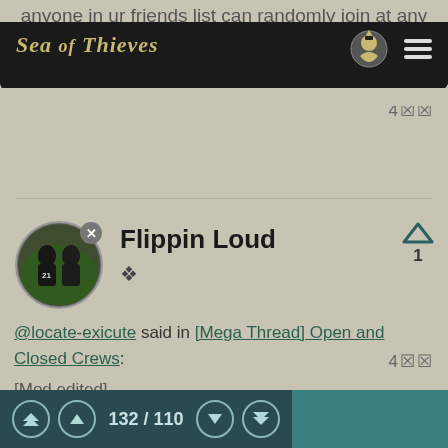Sea of Thieves
anyone in ur friends list can randomly join at any time
4🔲🔲
Flippin Loud
@locate-exicute said in [Mega Thread] Open and Closed Crews:
[Mod edited]

Its called sea of THIEVES. Bye 🔲🔲
4🔲🔲
132 / 110